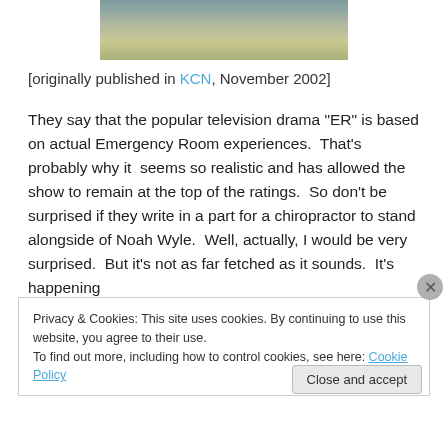[Figure (photo): Partial photograph of a building exterior with a parking area, partially cropped at top]
[originally published in KCN, November 2002]
They say that the popular television drama “ER” is based on actual Emergency Room experiences.  That’s probably why it  seems so realistic and has allowed the show to remain at the top of the ratings.  So don’t be surprised if they write in a part for a chiropractor to stand alongside of Noah Wyle.  Well, actually, I would be very surprised.  But it’s not as far fetched as it sounds.  It’s happening
Privacy & Cookies: This site uses cookies. By continuing to use this website, you agree to their use.
To find out more, including how to control cookies, see here: Cookie Policy
Close and accept